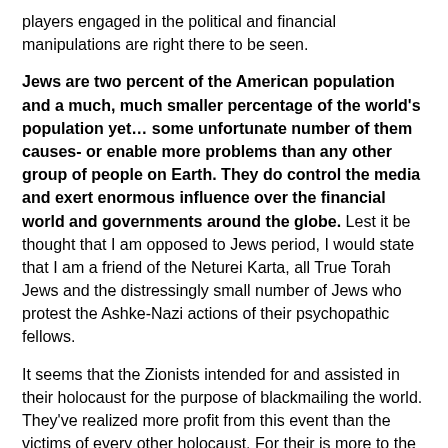players engaged in the political and financial manipulations are right there to be seen.
Jews are two percent of the American population and a much, much smaller percentage of the world's population yet… some unfortunate number of them causes- or enable more problems than any other group of people on Earth. They do control the media and exert enormous influence over the financial world and governments around the globe. Lest it be thought that I am opposed to Jews period, I would state that I am a friend of the Neturei Karta, all True Torah Jews and the distressingly small number of Jews who protest the Ashke-Nazi actions of their psychopathic fellows.
It seems that the Zionists intended for and assisted in their holocaust for the purpose of blackmailing the world. They've realized more profit from this event than the victims of every other holocaust. For their is more to the